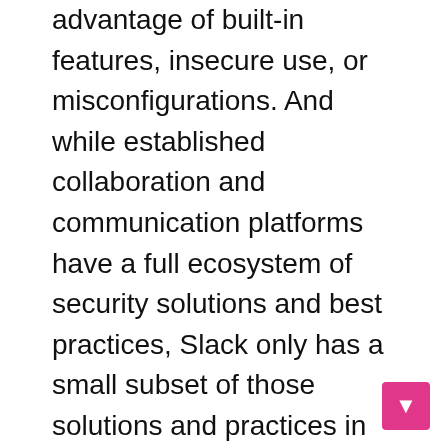advantage of built-in features, insecure use, or misconfigurations. And while established collaboration and communication platforms have a full ecosystem of security solutions and best practices, Slack only has a small subset of those solutions and practices in place.

Slack offers an open and collaborative culture, while years of phishing attacks have made users wary of unusual emails, few suspect a message from a colleague on Slack. Therefore, compromising a single account in Slack can easily be exploited to trick other users into gaining additional access, not just to other users, but to multiple channels. Most organizations leave many public channels to encourage participation and have developed a sense of th...